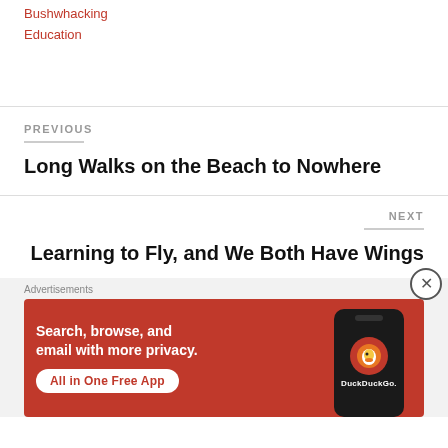Bushwhacking
Education
PREVIOUS
Long Walks on the Beach to Nowhere
NEXT
Learning to Fly, and We Both Have Wings
Advertisements
[Figure (screenshot): DuckDuckGo advertisement banner with orange-red background showing 'Search, browse, and email with more privacy. All in One Free App' with DuckDuckGo logo on a phone]